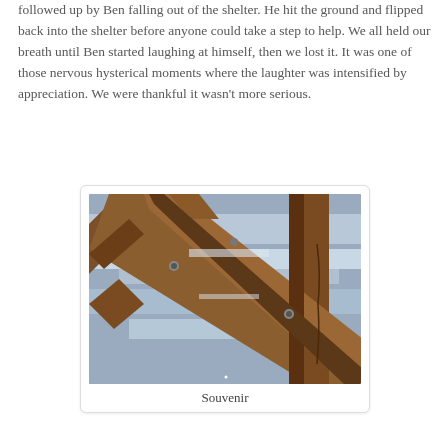followed up by Ben falling out of the shelter. He hit the ground and flipped back into the shelter before anyone could take a step to help. We all held our breath until Ben started laughing at himself, then we lost it. It was one of those nervous hysterical moments where the laughter was intensified by appreciation. We were thankful it wasn't more serious.
[Figure (photo): Interior view looking up at wooden roof trusses and beams of a shelter, with silver insulation material visible between the wooden members.]
Souvenir